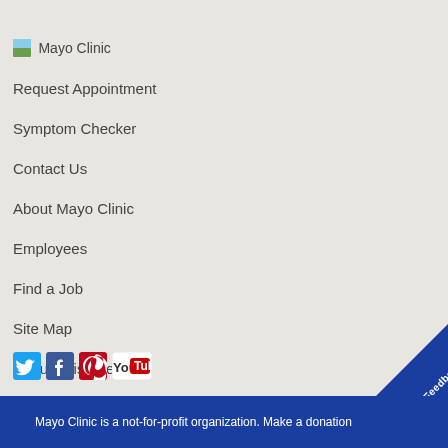[Figure (logo): Mayo Clinic logo with small image icon and text]
Request Appointment
Symptom Checker
Contact Us
About Mayo Clinic
Employees
Find a Job
Site Map
About This Site
[Figure (illustration): Social media icons: Twitter (blue bird), Facebook (blue f), Pinterest (red P), YouTube (red/white logo)]
Mayo Clinic is a not-for-profit organization. Make a donation